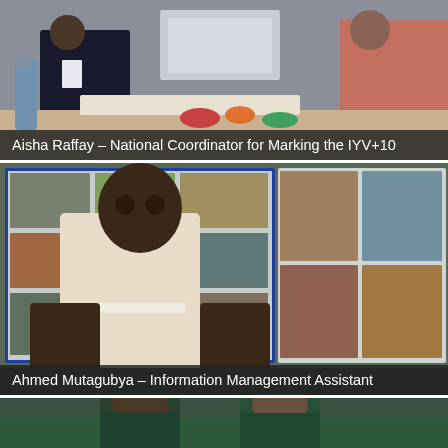[Figure (photo): Photo of Aisha Raffay standing at an exhibition or event, people visible in background with a booth display]
Aisha Raffay – National Coordinator for Marking the IYV+10
[Figure (photo): Photo of Ahmed Mutagubya standing near a display board covered with photographs, appearing to be at an exhibition]
Ahmed Mutagubya – Information Management Assistant
[Figure (photo): Partial photo at bottom of page showing people, partially cropped]